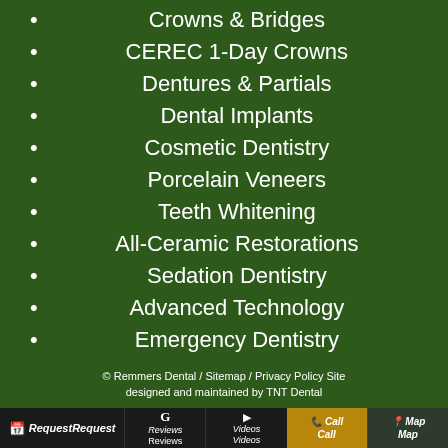Crowns & Bridges
CEREC 1-Day Crowns
Dentures & Partials
Dental Implants
Cosmetic Dentistry
Porcelain Veneers
Teeth Whitening
All-Ceramic Restorations
Sedation Dentistry
Advanced Technology
Emergency Dentistry
© Remmers Dental / Sitemap / Privacy Policy Site designed and maintained by TNT Dental
Request Request   Reviews Reviews   Videos Videos   Call Call   Map Map